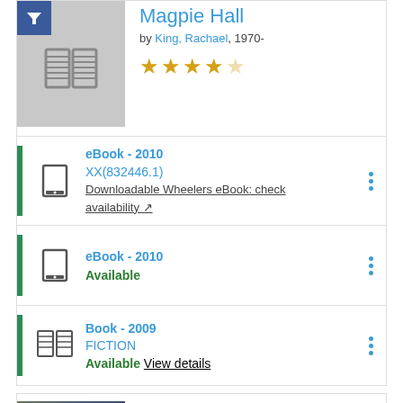Magpie Hall
by King, Rachael, 1970-
[Figure (other): 4 out of 5 star rating shown with gold stars]
eBook - 2010 XX(832446.1) Downloadable Wheelers eBook: check availability
eBook - 2010 Available
Book - 2009 FICTION Available View details
Bill Hammond
by the Partlow Sho...